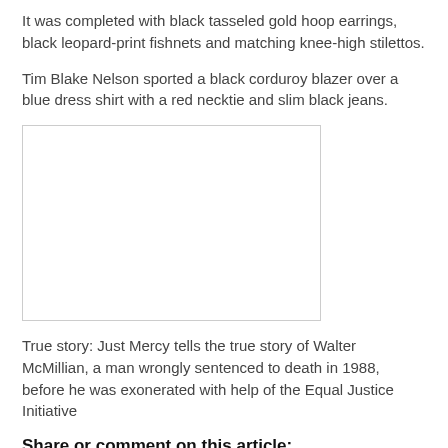It was completed with black tasseled gold hoop earrings, black leopard-print fishnets and matching knee-high stilettos.
Tim Blake Nelson sported a black corduroy blazer over a blue dress shirt with a red necktie and slim black jeans.
[Figure (photo): A blank white photo placeholder with a light gray border.]
True story: Just Mercy tells the true story of Walter McMillian, a man wrongly sentenced to death in 1988, before he was exonerated with help of the Equal Justice Initiative
Share or comment on this article: